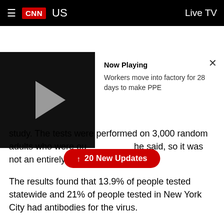CNN   US   Live TV
[Figure (screenshot): Video thumbnail with play button showing dark background, and info panel saying Now Playing: Workers move into factory for 28 days to make PPE]
study. The tests were performed on 3,000 random adults who were ou he said, so it was not an entirely random sample.
The results found that 13.9% of people tested statewide and 21% of people tested in New York City had antibodies for the virus.
What this means: If those rates hold for the state's 19.5 million people and the city's 8.4 million people, then about 2.7 million people in the state and about 1.8 million people in the city had the virus — numbers that are multiple times higher than the official state counts.